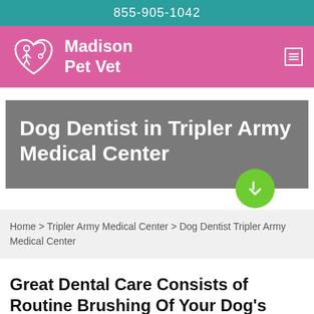855-905-1042
[Figure (logo): Madison Pet Vet logo with heart and dog silhouette on pink navigation bar]
Dog Dentist in Tripler Army Medical Center
Home > Tripler Army Medical Center > Dog Dentist Tripler Army Medical Center
Great Dental Care Consists of Routine Brushing Of Your Dog's Mouth With A Dog Dentist in Tripler Army Medical